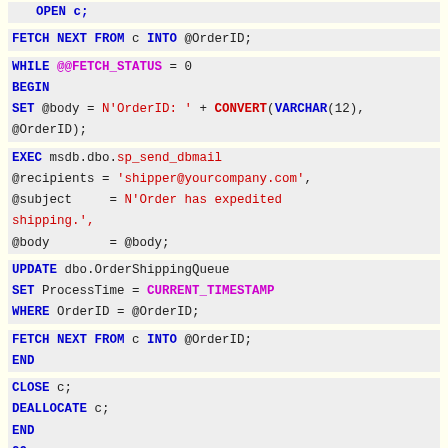[Figure (screenshot): SQL code snippet showing cursor fetch loop, sp_send_dbmail call, UPDATE statement, and cursor close/deallocate, with syntax highlighting (blue keywords, pink built-ins, red strings/functions)]